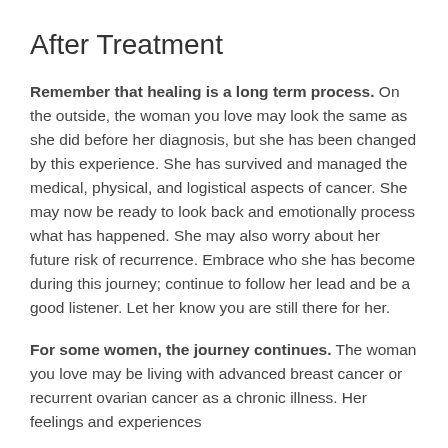After Treatment
Remember that healing is a long term process. On the outside, the woman you love may look the same as she did before her diagnosis, but she has been changed by this experience. She has survived and managed the medical, physical, and logistical aspects of cancer. She may now be ready to look back and emotionally process what has happened. She may also worry about her future risk of recurrence. Embrace who she has become during this journey; continue to follow her lead and be a good listener. Let her know you are still there for her.
For some women, the journey continues. The woman you love may be living with advanced breast cancer or recurrent ovarian cancer as a chronic illness. Her feelings and experiences